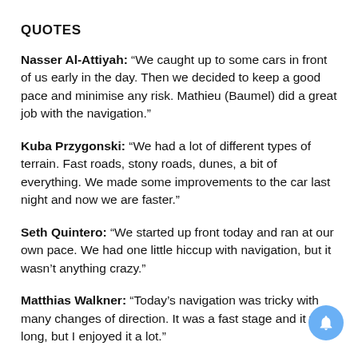QUOTES
Nasser Al-Attiyah: “We caught up to some cars in front of us early in the day. Then we decided to keep a good pace and minimise any risk. Mathieu (Baumel) did a great job with the navigation.”
Kuba Przygonski: “We had a lot of different types of terrain. Fast roads, stony roads, dunes, a bit of everything. We made some improvements to the car last night and now we are faster.”
Seth Quintero: “We started up front today and ran at our own pace. We had one little hiccup with navigation, but it wasn’t anything crazy.”
Matthias Walkner: “Today’s navigation was tricky with many changes of direction. It was a fast stage and it was long, but I enjoyed it a lot.”